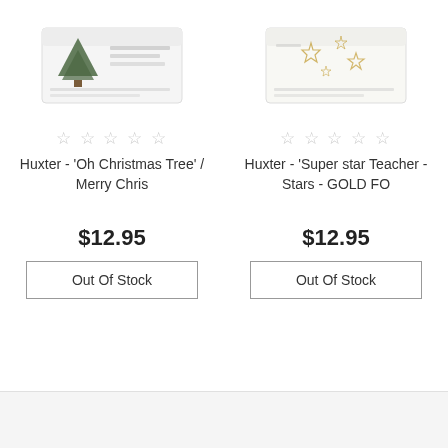[Figure (photo): Product photo of Huxter 'Oh Christmas Tree' / Merry Chris soap box with green Christmas tree illustration on white packaging]
[Figure (photo): Product photo of Huxter 'Super star Teacher - Stars - GOLD FO' soap box with gold star illustrations on white packaging]
☆ ☆ ☆ ☆ ☆
☆ ☆ ☆ ☆ ☆
Huxter - 'Oh Christmas Tree' / Merry Chris
Huxter - 'Super star Teacher - Stars - GOLD FO
$12.95
$12.95
Out Of Stock
Out Of Stock